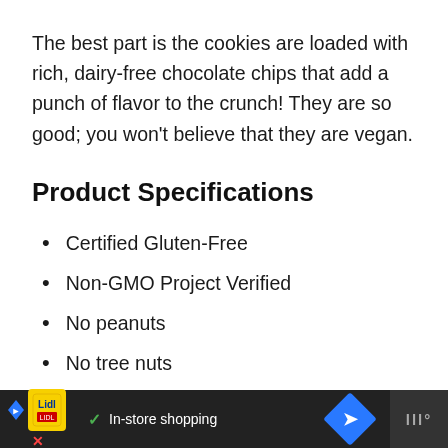The best part is the cookies are loaded with rich, dairy-free chocolate chips that add a punch of flavor to the crunch! They are so good; you won't believe that they are vegan.
Product Specifications
Certified Gluten-Free
Non-GMO Project Verified
No peanuts
No tree nuts
No eggs
No wheat
[Figure (other): Advertisement bar at bottom: Lidl grocery store ad with yellow icon, checkmark, 'In-store shopping' text, blue diamond arrow icon, and dark right panel with menu icon]